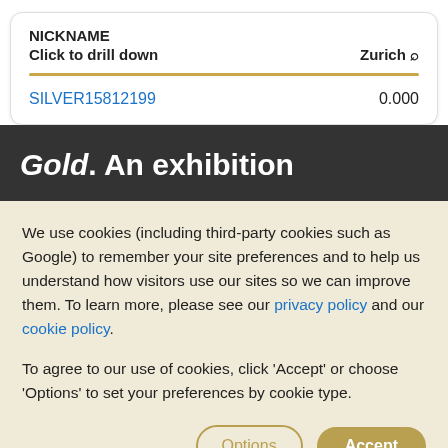NICKNAME
Click to drill down   Zurich
SILVER15812199   0.000
Gold. An exhibition
We use cookies (including third-party cookies such as Google) to remember your site preferences and to help us understand how visitors use our sites so we can improve them. To learn more, please see our privacy policy and our cookie policy.
To agree to our use of cookies, click 'Accept' or choose 'Options' to set your preferences by cookie type.